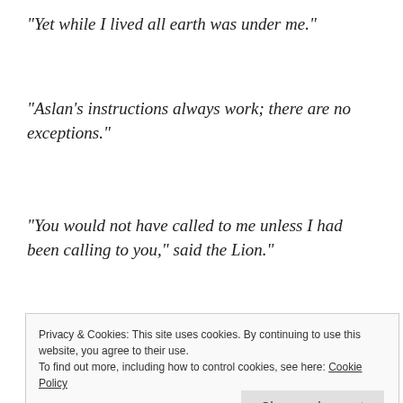“Yet while I lived all earth was under me.”
“Aslan’s instructions always work; there are no exceptions.”
“You would not have called to me unless I had been calling to you,” said the Lion.”
“I’m on Aslan’s side even if there isn’t any Aslan to
Privacy & Cookies: This site uses cookies. By continuing to use this website, you agree to their use.
To find out more, including how to control cookies, see here: Cookie Policy
trying to do right in its way while it lasts. But yo...